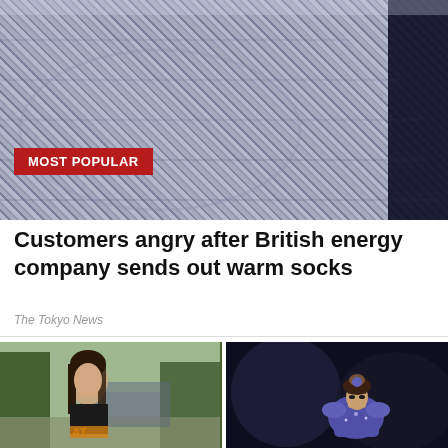[Figure (photo): Close-up photo of gray/navy knitted socks]
MOST POPULAR
Customers angry after British energy company sends out warm socks
The Tokyo News
[Figure (photo): Side-by-side photos: left shows a young woman in a cheerleader outfit outdoors; right shows a female gymnast in a purple leotard at a competition]